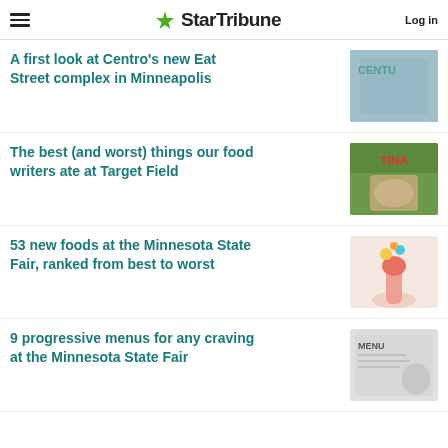StarTribune — Log in
A first look at Centro's new Eat Street complex in Minneapolis
The best (and worst) things our food writers ate at Target Field
53 new foods at the Minnesota State Fair, ranked from best to worst
9 progressive menus for any craving at the Minnesota State Fair